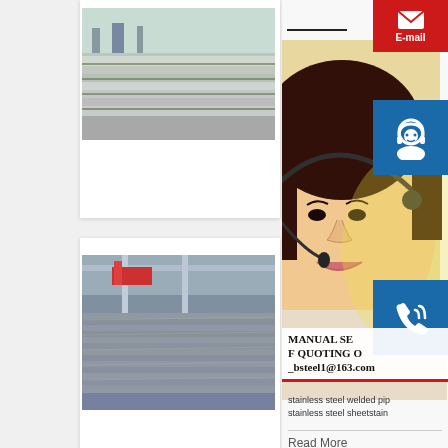[Figure (photo): Stack of stainless steel plates/sheets photographed outdoors]
[Figure (photo): Stacks of steel sheets in a warehouse/factory with red crane]
[Figure (photo): Customer service representative (woman with headset) with blue contact icons (chat, phone, Skype) and E-mail button]
MANUAL SE
QUOTING O
_bsteel1@163.com
stainless steel welded pip
stainless steel sheetstain
Read More